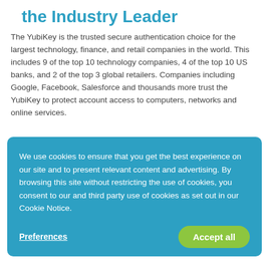the Industry Leader
The YubiKey is the trusted secure authentication choice for the largest technology, finance, and retail companies in the world. This includes 9 of the top 10 technology companies, 4 of the top 10 US banks, and 2 of the top 3 global retailers. Companies including Google, Facebook, Salesforce and thousands more trust the YubiKey to protect account access to computers, networks and online services.
We use cookies to ensure that you get the best experience on our site and to present relevant content and advertising. By browsing this site without restricting the use of cookies, you consent to our and third party use of cookies as set out in our Cookie Notice.
Preferences   Accept all